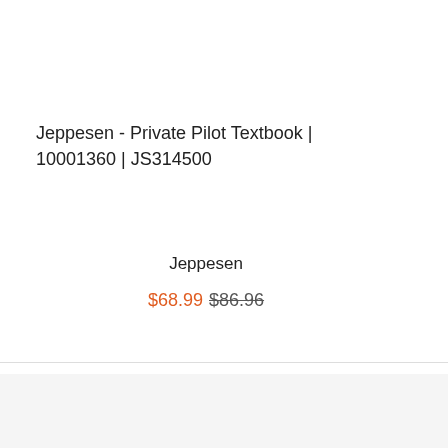Jeppesen - Private Pilot Textbook | 10001360 | JS314500
Jeppesen
$68.99 $86.96
[Figure (screenshot): Bottom section showing star ratings, a 'Questions? Chat with us now' popup overlay in dark background, and a Google Reviews popup showing 4.8 rating with 767 reviews]